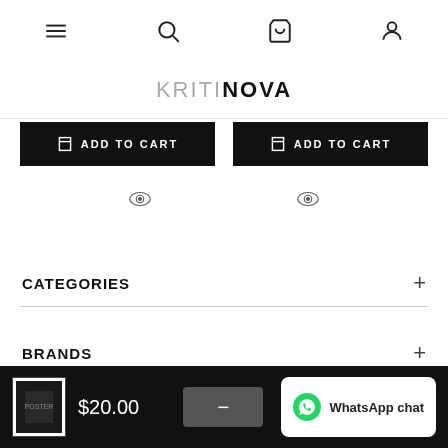Navigation bar with menu, search, cart, and account icons
KRITINOVA
[Figure (screenshot): Two black ADD TO CART buttons with cart icon]
[Figure (illustration): Two eye/quick-view icons]
CATEGORIES
BRANDS
$20.00  WhatsApp chat